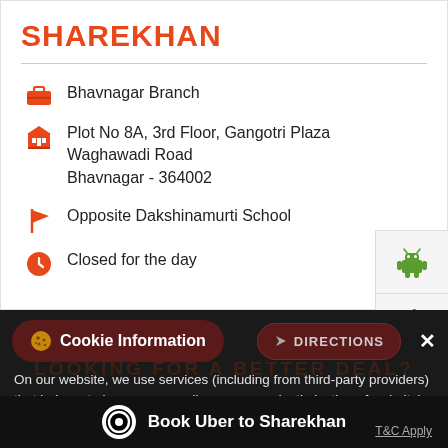SHAREKHAN
Bhavnagar Branch
Plot No 8A, 3rd Floor, Gangotri Plaza
Waghawadi Road
Bhavnagar - 364002
Opposite Dakshinamurti School
Closed for the day
Cookie Information
DIRECTIONS
On our website, we use services (including from third-party providers) that help us to improve our online presence (optimization of website) and to display content that is geared to their interests. We need your consent before being able to use these services.
Book Uber to Sharekhan
T&C Apply